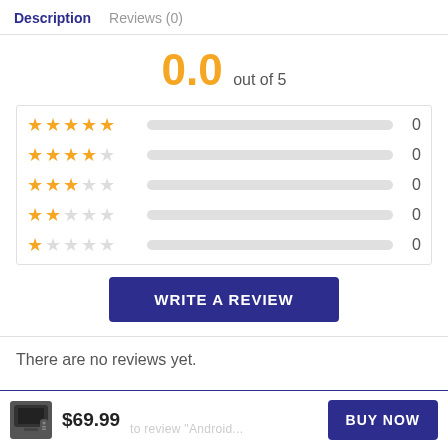Description   Reviews (0)
0.0 out of 5
[Figure (infographic): Star rating breakdown: 5 stars - 0, 4 stars - 0, 3 stars - 0, 2 stars - 0, 1 star - 0. Each row shows filled/empty stars and an empty progress bar.]
WRITE A REVIEW
There are no reviews yet.
$69.99   BUY NOW